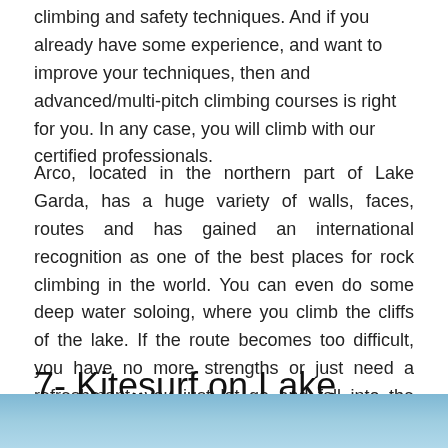climbing and safety techniques. And if you already have some experience, and want to improve your techniques, then and advanced/multi-pitch climbing courses is right for you. In any case, you will climb with our certified professionals.
Arco, located in the northern part of Lake Garda, has a huge variety of walls, faces, routes and has gained an international recognition as one of the best places for rock climbing in the world. You can even do some deep water soloing, where you climb the cliffs of the lake. If the route becomes too difficult, you have no more strengths or just need a refreshment, you just let go and fall into the water.
7- Kitesurf on Lake Garda
[Figure (photo): Partial view of Lake Garda with light blue sky and water, cropped at the bottom of the page.]